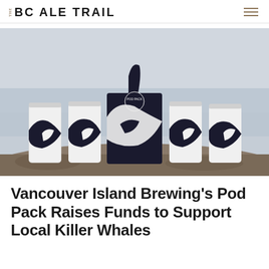THE BC ALE TRAIL
[Figure (photo): Product photo of Vancouver Island Brewing Pod Pack beer cans with orca whale design in black and white, arranged on a rocky surface with ocean and misty sky in the background. A six-pack box with a killer whale fin emerging from the top is in the center, flanked by four individual tall cans with orca graphic wrap.]
Vancouver Island Brewing's Pod Pack Raises Funds to Support Local Killer Whales